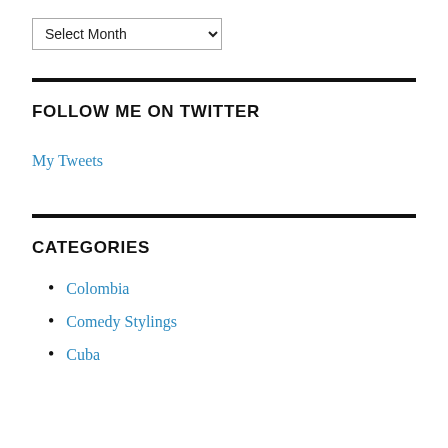Select Month
FOLLOW ME ON TWITTER
My Tweets
CATEGORIES
Colombia
Comedy Stylings
Cuba